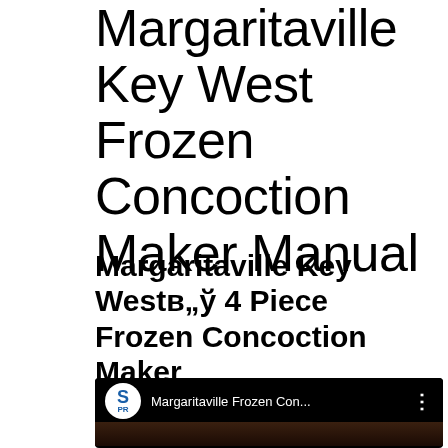Margaritaville Key West Frozen Concoction Maker Manual
Margaritaville Key Westв„ў 4 Piece Frozen Concoction Maker
[Figure (screenshot): YouTube video thumbnail showing 'Margaritaville Frozen Con...' with channel icon showing 'S PR' logo and three-dot menu]